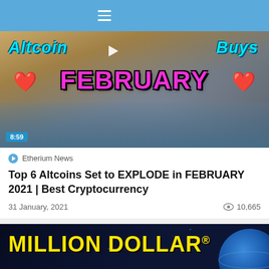≡
[Figure (screenshot): Video thumbnail for 'Altcoin Buys FEBRUARY' with pink/magenta text FEBRUARY, cyan Altcoin Buys text, red hearts, duration badge 8:59]
Etherium News
Top 6 Altcoins Set to EXPLODE in FEBRUARY 2021 | Best Cryptocurrency
31 January, 2021
10,665
[Figure (screenshot): Video thumbnail for 'MILLION DOLLAR' with yellow bold text on dark navy background, planet/moon on right side, astronaut figure at bottom center]